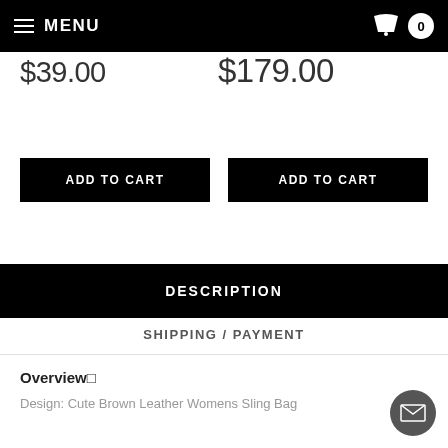MENU
$39.00
$179.00
ADD TO CART
ADD TO CART
DESCRIPTION
SHIPPING / PAYMENT
Overview□
Design: Cute Brown Leather Womens Sling Bag